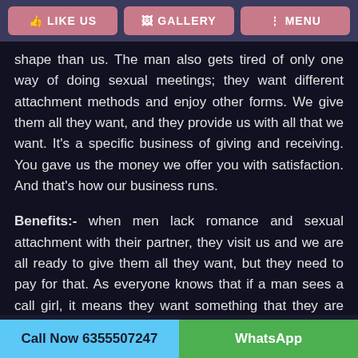LIKE US | GALLERY | MENU
shape than us. The man also gets tired of only one way of doing sexual meetings; they want different attachment methods and enjoy other forms. We give them all they want, and they provide us with all that we want. It's a specific business of giving and receiving. You gave us the money we offer you with satisfaction. And that's how our business runs.
Benefits:- when men lack romance and sexual attachment with their partner, they visit us and we are all ready to give them all they want, but they need to pay for that. As everyone knows that if a man sees a call girl, it means they want something that they are not getting at their homes. We are all different from standard social backgrounds, so they also don't have any insecurity that they are having fun outside and reach their home. They enjoy with us; they make connections with us later on; they pay for all they do with us.
Call Now 6355507247 | WhatsApp